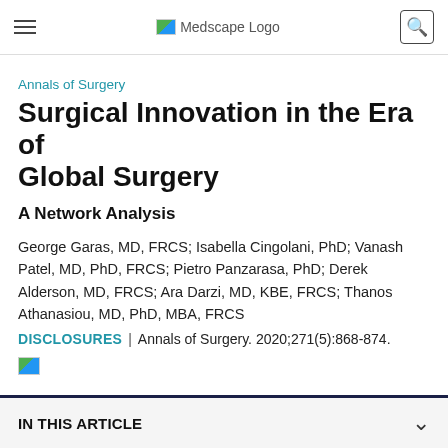Medscape Logo
Annals of Surgery
Surgical Innovation in the Era of Global Surgery
A Network Analysis
George Garas, MD, FRCS; Isabella Cingolani, PhD; Vanash Patel, MD, PhD, FRCS; Pietro Panzarasa, PhD; Derek Alderson, MD, FRCS; Ara Darzi, MD, KBE, FRCS; Thanos Athanasiou, MD, PhD, MBA, FRCS
DISCLOSURES | Annals of Surgery. 2020;271(5):868-874.
[Figure (other): Broken image placeholder]
IN THIS ARTICLE